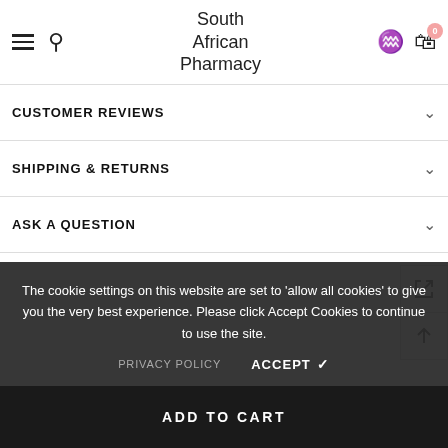South African Pharmacy
CUSTOMER REVIEWS
SHIPPING & RETURNS
ASK A QUESTION
The cookie settings on this website are set to 'allow all cookies' to give you the very best experience. Please click Accept Cookies to continue to use the site.
PRIVACY POLICY   ACCEPT ✓
ADD TO CART